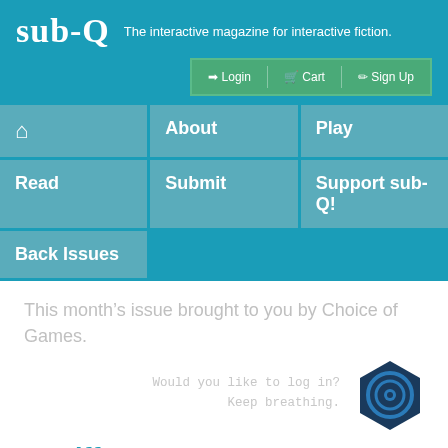sub-Q  The interactive magazine for interactive fiction.
Login  Cart  Sign Up
🏠
About
Play
Read
Submit
Support sub-Q!
Back Issues
This month's issue brought to you by Choice of Games.
Would you like to log in?
Keep breathing.
[Figure (logo): Dark blue hexagon icon with a circular lens/eye graphic inside]
IF Riffs: An IFComp